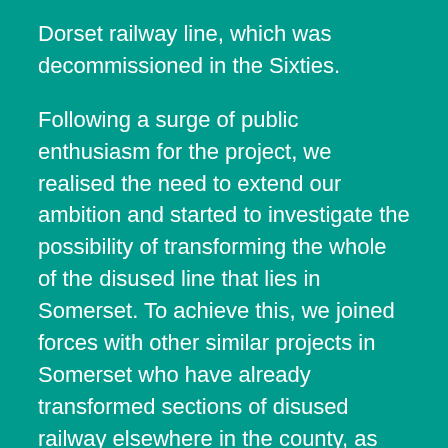Dorset railway line, which was decommissioned in the Sixties.

Following a surge of public enthusiasm for the project, we realised the need to extend our ambition and started to investigate the possibility of transforming the whole of the disused line that lies in Somerset. To achieve this, we joined forces with other similar projects in Somerset who have already transformed sections of disused railway elsewhere in the county, as well as with other networks which promote active travel, such as the local ramblers, and bridleways groups, as well as Somerset Climate Action Network. We did this because, not only does having a dedicated Active Transport route with good disabled access across Somerset benefit all of us, but